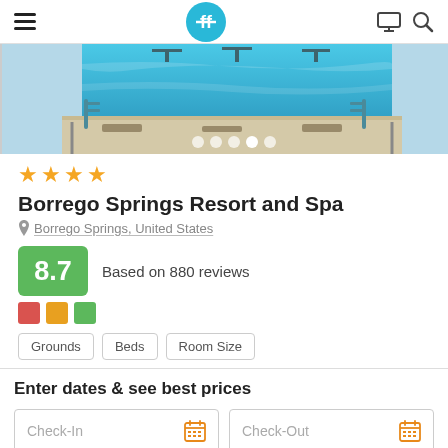Navigation bar with hamburger menu, logo, monitor icon, and search icon
[Figure (photo): Hotel swimming pool area with blue water, pool deck, chairs and umbrellas in background]
★★★★
Borrego Springs Resort and Spa
📍 Borrego Springs, United States
8.7  Based on 880 reviews
Grounds  Beds  Room Size
Enter dates & see best prices
Check-In    Check-Out
Show prices